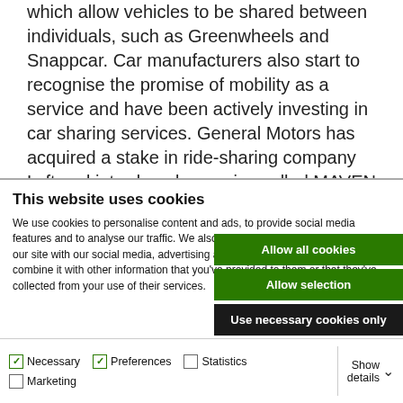which allow vehicles to be shared between individuals, such as Greenwheels and Snappcar. Car manufacturers also start to recognise the promise of mobility as a service and have been actively investing in car sharing services. General Motors has acquired a stake in ride-sharing company Lyft and introduced a service called MAVEN which allows users to rent a vehicle from a shared fleet
This website uses cookies
We use cookies to personalise content and ads, to provide social media features and to analyse our traffic. We also share information about your use of our site with our social media, advertising and analytics partners who may combine it with other information that you've provided to them or that they've collected from your use of their services.
Allow all cookies
Allow selection
Use necessary cookies only
Necessary  Preferences  Statistics  Marketing  Show details